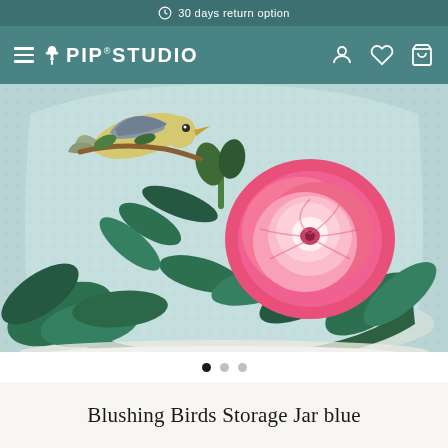30 days return option
[Figure (logo): Pip Studio brand logo with bird icon and navigation bar icons (hamburger menu, user account, wishlist heart, shopping bag)]
[Figure (photo): Close-up photo of a ceramic storage jar with blue background featuring painted birds, large pink peony rose, and green leaves — Blushing Birds Storage Jar blue by Pip Studio]
Blushing Birds Storage Jar blue